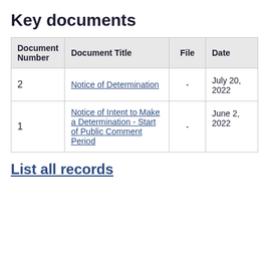Key documents
| Document Number | Document Title | File | Date |
| --- | --- | --- | --- |
| 2 | Notice of Determination | - | July 20, 2022 |
| 1 | Notice of Intent to Make a Determination - Start of Public Comment Period | - | June 2, 2022 |
List all records